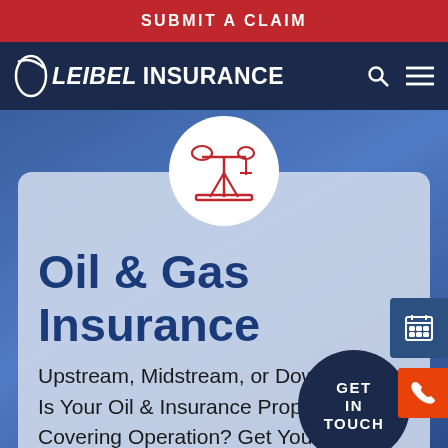SUBMIT A CLAIM
[Figure (logo): Leibel Insurance logo with search and hamburger menu icons in dark navy navigation bar]
[Figure (illustration): Oil pump jack icon in red outline on white circle against blue gradient hero background]
Oil & Gas Insurance
Upstream, Midstream, or Downstream, Is Your Oil & Insurance Properly Covering Operation? Get Your Free Canada